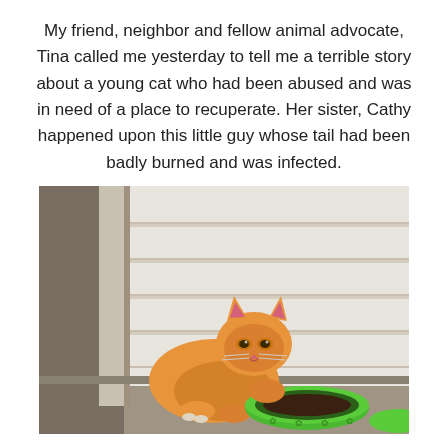My friend, neighbor and fellow animal advocate, Tina called me yesterday to tell me a terrible story about a young cat who had been abused and was in need of a place to recuperate. Her sister, Cathy happened upon this little guy whose tail had been badly burned and was infected.
[Figure (photo): An orange tabby kitten eating from a green food bowl on a concrete surface in front of white horizontal siding/paneling.]